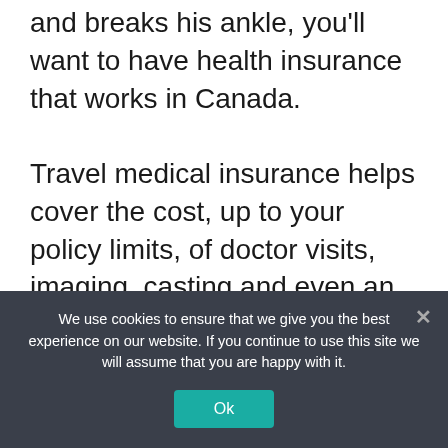and breaks his ankle, you'll want to have health insurance that works in Canada.
Travel medical insurance helps cover the cost, up to your policy limits, of doctor visits, imaging, casting and even an overnight hospital stay. You can find travel medical insurance with ample benefits of $500,000 per person, although many plans offer less if you don't need that much.
There is also always the risk that a medical evacuation may be needed while traveling. If
We use cookies to ensure that we give you the best experience on our website. If you continue to use this site we will assume that you are happy with it.